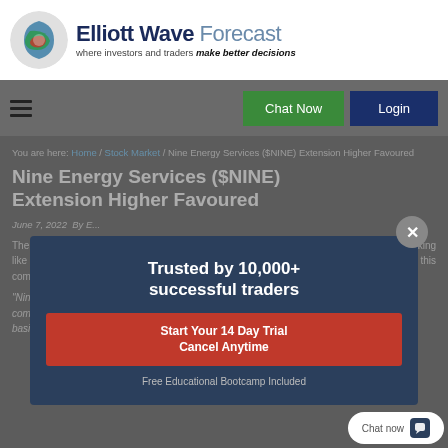[Figure (logo): Elliott Wave Forecast logo with circular swirl icon and tagline 'where investors and traders make better decisions']
Chat Now | Login
You are here: Home / Stock Market / Nine Energy Services ($NINE) Extension Higher Favoured
Nine Energy Services ($NINE) Extension Higher Favoured
June 7, 2022 By E...
The last time I covered Nine Energy Services was back in April 2022. At that time it was looking like more upside was favoured. Before we get into the charts, lets get a refresher on this company:
"Nine Energy Serv... company with exper... basins and abroad ar...
[Figure (infographic): Modal popup overlay: 'Trusted by 10,000+ successful traders' with red CTA button 'Start Your 14 Day Trial / Cancel Anytime' and text 'Free Educational Bootcamp Included']